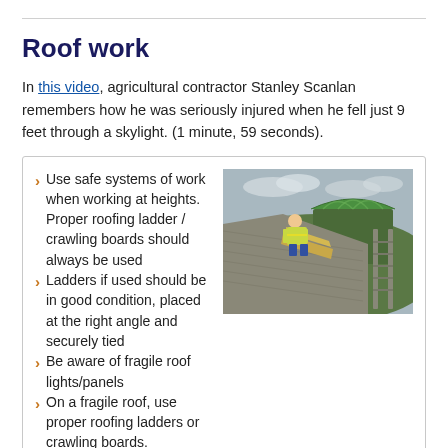Roof work
In this video, agricultural contractor Stanley Scanlan remembers how he was seriously injured when he fell just 9 feet through a skylight. (1 minute, 59 seconds).
Use safe systems of work when working at heights. Proper roofing ladder / crawling boards should always be used
Ladders if used should be in good condition, placed at the right angle and securely tied
Be aware of fragile roof lights/panels
On a fragile roof, use proper roofing ladders or crawling boards.
[Figure (photo): A worker in a high-visibility jacket on a roof with crawling boards and a ladder visible, agricultural building in background]